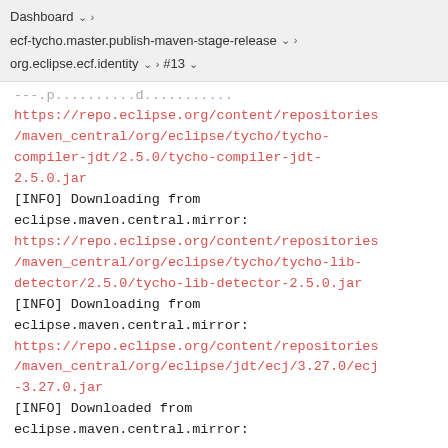Dashboard > ecf-tycho.master.publish-maven-stage-release > org.eclipse.ecf.identity > #13
[INFO] Downloading from eclipse.maven.central.mirror: https://repo.eclipse.org/content/repositories/maven_central/org/eclipse/tycho/tycho-compiler-jdt/2.5.0/tycho-compiler-jdt-2.5.0.jar
[INFO] Downloading from eclipse.maven.central.mirror: https://repo.eclipse.org/content/repositories/maven_central/org/eclipse/tycho/tycho-lib-detector/2.5.0/tycho-lib-detector-2.5.0.jar
[INFO] Downloading from eclipse.maven.central.mirror: https://repo.eclipse.org/content/repositories/maven_central/org/eclipse/jdt/ecj/3.27.0/ecj-3.27.0.jar
[INFO] Downloaded from eclipse.maven.central.mirror: